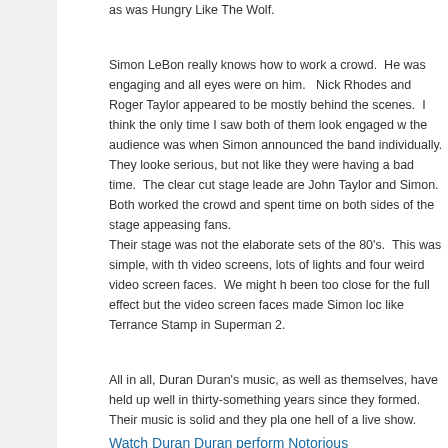as was Hungry Like The Wolf.
Simon LeBon really knows how to work a crowd. He was engaging and all eyes were on him. Nick Rhodes and Roger Taylor appeared to be mostly behind the scenes. I think the only time I saw both of them look engaged with the audience was when Simon announced the band individually. They looked serious, but not like they were having a bad time. The clear cut stage leaders are John Taylor and Simon. Both worked the crowd and spent time on both sides of the stage appeasing fans.
Their stage was not the elaborate sets of the 80's. This was simple, with the video screens, lots of lights and four weird video screen faces. We might have been too close for the full effect but the video screen faces made Simon look like Terrance Stamp in Superman 2.
All in all, Duran Duran's music, as well as themselves, have held up well in the thirty-something years since they formed. Their music is solid and they play one hell of a live show.
Watch Duran Duran perform Notorious
October 25, 2011 Posted by Arnie C | Music, Reviews | Chicago, Concert, Duran Duran, Illinois, Review, Rock | 1 Comment